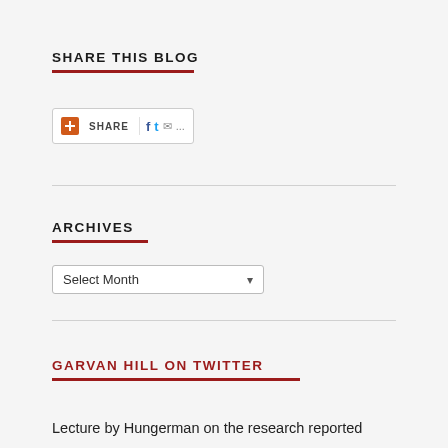SHARE THIS BLOG
[Figure (screenshot): Share widget with AddThis button showing Facebook, Twitter, email and more icons]
ARCHIVES
[Figure (screenshot): Select Month dropdown widget]
GARVAN HILL ON TWITTER
Lecture by Hungerman on the research reported